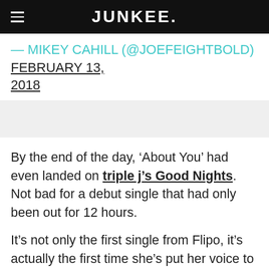JUNKEE.
— MIKEY CAHILL (@JOEFEIGHTBOLD) FEBRUARY 13, 2018
[Figure (other): Gray placeholder block]
By the end of the day, ‘About You’ had even landed on triple j’s Good Nights. Not bad for a debut single that had only been out for 12 hours.
It’s not only the first single from Flipo, it’s actually the first time she’s put her voice to music — she previously worked as a touring drummer in the US before coming home to kickstart her artist project.